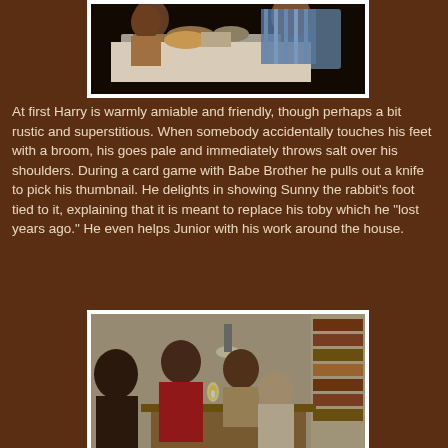[Figure (photo): Photo of people seated around a dining table with food, one person in a striped shirt visible]
At first Harry is warmly amiable and friendly, though perhaps a bit rustic and superstitious. When somebody accidentally touches his feet with a broom, his goes pale and immediately throws salt over his shoulders. During a card game with Babe Brother he pulls out a knife to pick his thumbnail. He delights in showing Sunny the rabbit's foot tied to it, explaining that it is meant to replace his toby which he "lost years ago." He even helps Junior with his work around the house.
[Figure (photo): Photo of several people gathered around a table indoors, one person in a red jacket appears to be lighting something, bookshelves visible in background]